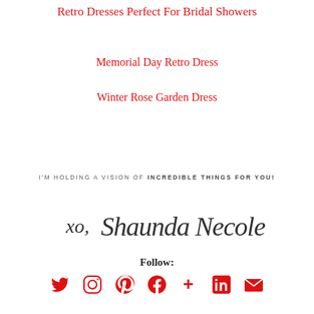Retro Dresses Perfect For Bridal Showers
Memorial Day Retro Dress
Winter Rose Garden Dress
I'M HOLDING A VISION OF INCREDIBLE THINGS FOR YOU!
[Figure (illustration): Handwritten cursive signature reading 'xo, Shaunda Necole']
Follow:
[Figure (other): Row of social media icons: Twitter, Instagram, Pinterest, Facebook, Google Plus, LinkedIn, Email]